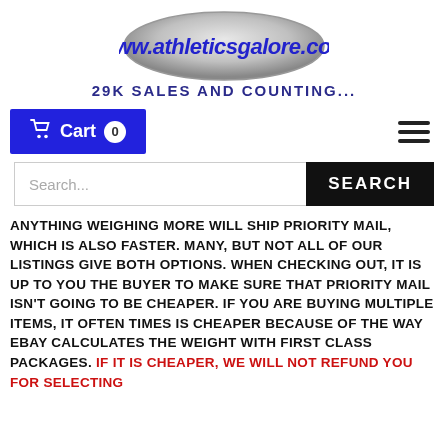[Figure (logo): Oval silver gradient logo with www.athleticsgalore.com text in bold blue italic]
29K SALES AND COUNTING...
[Figure (other): Blue cart button with shopping cart icon and 0 badge, and hamburger menu icon on the right]
[Figure (other): Search input box with placeholder 'Search...' and black SEARCH button]
ANYTHING WEIGHING MORE WILL SHIP PRIORITY MAIL, WHICH IS ALSO FASTER. MANY, BUT NOT ALL OF OUR LISTINGS GIVE BOTH OPTIONS. WHEN CHECKING OUT, IT IS UP TO YOU THE BUYER TO MAKE SURE THAT PRIORITY MAIL ISN'T GOING TO BE CHEAPER. IF YOU ARE BUYING MULTIPLE ITEMS, IT OFTEN TIMES IS CHEAPER BECAUSE OF THE WAY EBAY CALCULATES THE WEIGHT WITH FIRST CLASS PACKAGES. IF IT IS CHEAPER, WE WILL NOT REFUND YOU FOR SELECTING